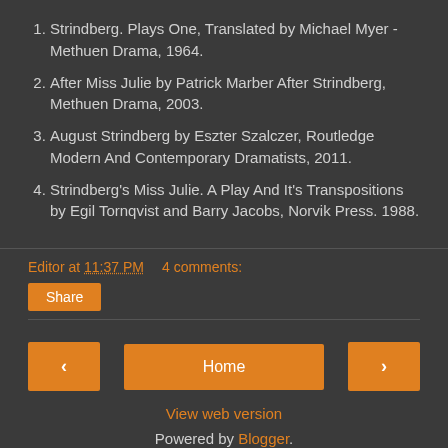1. Strindberg. Plays One, Translated by Michael Myer - Methuen Drama, 1964.
2. After Miss Julie by Patrick Marber After Strindberg, Methuen Drama, 2003.
3. August Strindberg by Eszter Szalczer, Routledge Modern And Contemporary Dramatists, 2011.
4. Strindberg's Miss Julie. A Play And It's Transpositions by Egil Tornqvist and Barry Jacobs, Norvik Press. 1988.
Editor at 11:37 PM   4 comments:
Share
‹   Home   ›
View web version
Powered by Blogger.